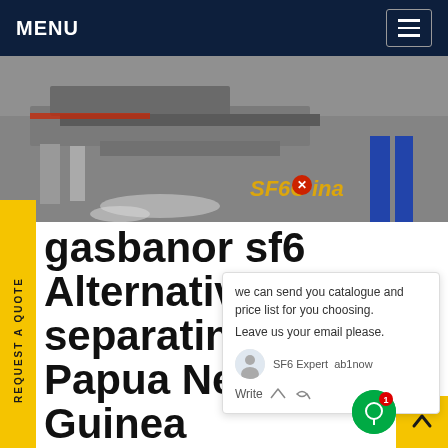MENU
[Figure (photo): Industrial machinery on concrete floor, showing metal equipment and a worker in blue pants in the background. Watermark text 'SF6China' visible in bottom right.]
gasbanor sf6 Alternatives separating in Papua New Guinea
About us. GEA is one of the largest technology suppliers for food processing and a wide range of other industries. The global group focuses on technologies, components and sustainable solutions for sophisticated production processes in diverse end-user markets. Read more.Get price